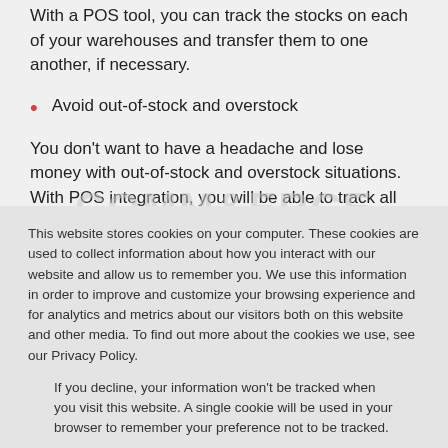With a POS tool, you can track the stocks on each of your warehouses and transfer them to one another, if necessary.
Avoid out-of-stock and overstock
You don't want to have a headache and lose money with out-of-stock and overstock situations. With POS integration, you will be able to track all the items in one
This website stores cookies on your computer. These cookies are used to collect information about how you interact with our website and allow us to remember you. We use this information in order to improve and customize your browsing experience and for analytics and metrics about our visitors both on this website and other media. To find out more about the cookies we use, see our Privacy Policy.
If you decline, your information won't be tracked when you visit this website. A single cookie will be used in your browser to remember your preference not to be tracked.